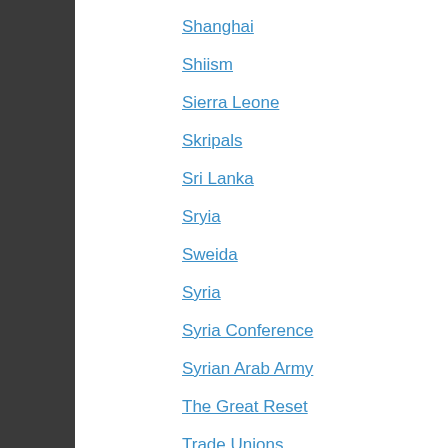Shanghai
Shiism
Sierra Leone
Skripals
Sri Lanka
Sryia
Sweida
Syria
Syria Conference
Syrian Arab Army
The Great Reset
Trade Unions
Tulsi Gabbard
Tunisia
Turkey
Twitter